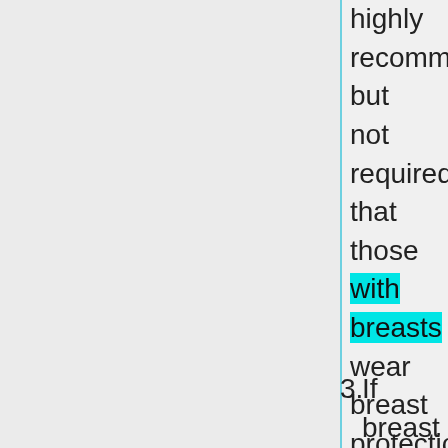highly recommended but not required that those with breasts wear breast protection of rigid material
3. If breast protection is worn,